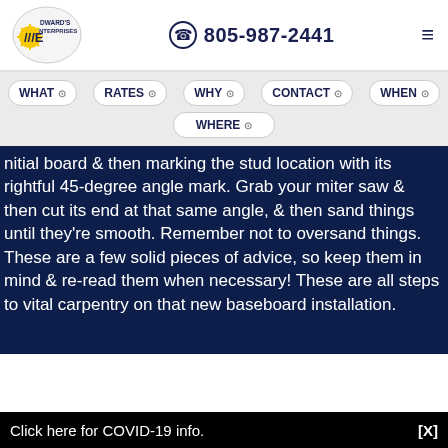Edward's Enterprises | 805-987-2441
[Figure (logo): Edward's Enterprises logo: stylized E with sunburst and company name]
805-987-2441
Navigation menu: WHAT, RATES, WHY, CONTACT, WHEN, WHERE
initial board & then marking the stud location with its rightful 45-degree angle mark. Grab your miter saw & then cut its end at that same angle, & then sand things until they're smooth. Remember not to oversand things. These are a few solid pieces of advice, so keep them in mind & re-read them when necessary! These are all steps to vital carpentry on that new baseboard installation.
Click here for COVID-19 info. [X]